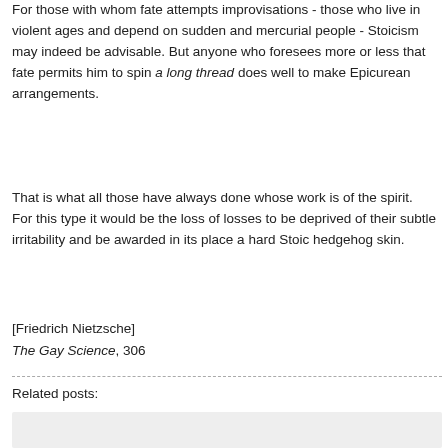For those with whom fate attempts improvisations - those who live in violent ages and depend on sudden and mercurial people - Stoicism may indeed be advisable. But anyone who foresees more or less that fate permits him to spin a long thread does well to make Epicurean arrangements.
That is what all those have always done whose work is of the spirit. For this type it would be the loss of losses to be deprived of their subtle irritability and be awarded in its place a hard Stoic hedgehog skin.
[Friedrich Nietzsche]
The Gay Science, 306
Related posts: